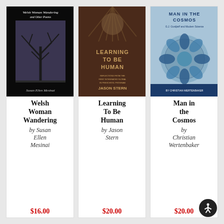[Figure (illustration): Book cover: Welsh Woman Wandering and Other Poems by Susan Ellen Mesinai. Dark cover with a bare tree image.]
Welsh Woman Wandering
by Susan Ellen Mesinai
$16.00
[Figure (illustration): Book cover: Learning To Be Human by Jason Stern. Dark brown cover with decorative figure.]
Learning To Be Human
by Jason Stern
$20.00
[Figure (illustration): Book cover: Man in the Cosmos by Christian Wertenbaker. Light blue cover with ornate mandala design.]
Man in the Cosmos
by Christian Wertenbaker
$20.00